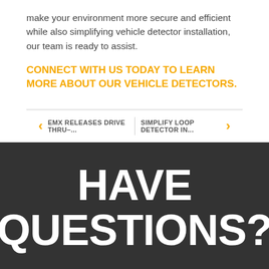make your environment more secure and efficient while also simplifying vehicle detector installation, our team is ready to assist.
CONNECT WITH US TODAY TO LEARN MORE ABOUT OUR VEHICLE DETECTORS.
EMX RELEASES DRIVE THRU–...
SIMPLIFY LOOP DETECTOR IN...
HAVE QUESTIONS?